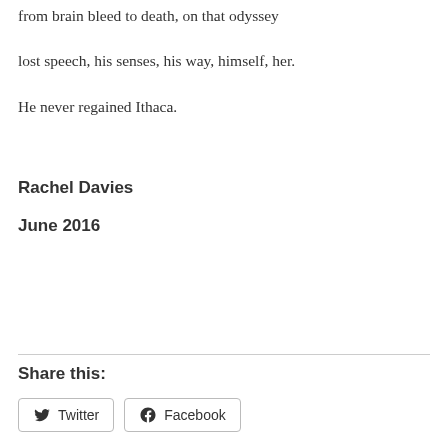from brain bleed to death, on that odyssey
lost speech, his senses, his way, himself, her.
He never regained Ithaca.
Rachel Davies
June 2016
Share this:
Twitter  Facebook